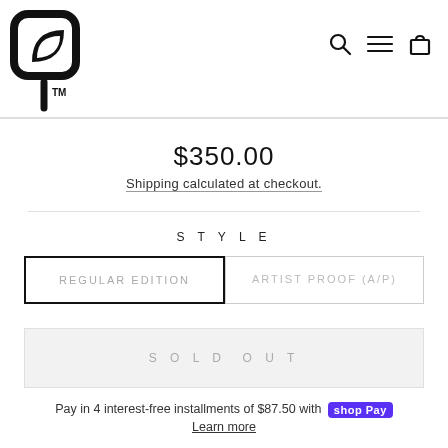[Figure (logo): Stylized leaf/plant logo mark in black with TM symbol]
[Figure (infographic): Navigation icons: search magnifier, hamburger menu, and shopping bag]
$350.00
Shipping calculated at checkout.
STYLE
REGULAR EDITION
ARTIST PROOF (A/P)
SOLD OUT
Pay in 4 interest-free installments of $87.50 with shop Pay
Learn more